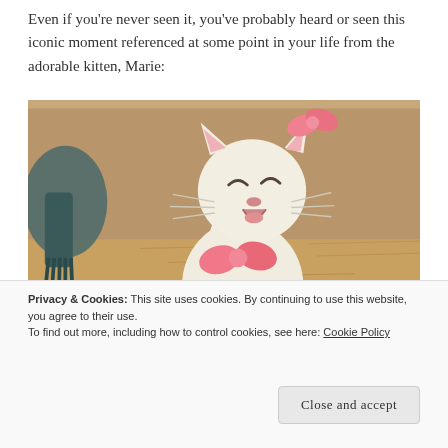Even if you're never seen it, you've probably heard or seen this iconic moment referenced at some point in your life from the adorable kitten, Marie:
[Figure (illustration): Animated cartoon of Marie the white kitten from The Aristocats, with pink bow on head and pink bow on chest, eyes closed singing/speaking, set against a sandy background. Subtitle text reads: Ladies don't start fights, but they can finish them.]
Privacy & Cookies: This site uses cookies. By continuing to use this website, you agree to their use.
To find out more, including how to control cookies, see here: Cookie Policy
Close and accept